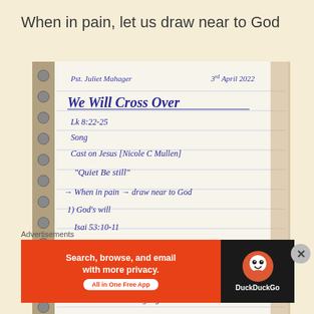When in pain, let us draw near to God
[Figure (photo): A spiral-bound notebook with handwritten notes reading: Pst. Juliet Mahager, 3rd April 2022, We Will Cross Over, Lk 8:22-25, Song, Cast on Jesus [Nicole C Mullen], 'Quiet Be still', → When in pain → draw near to God, 1) God's will, Isai 53:10-11, Lure 22:42, John 17:4, Acts 23:11,12, v.27:20 – a never ending night, V.21-25 – Courage. Watermark: sisterwithvision.com]
Advertisements
[Figure (screenshot): DuckDuckGo advertisement banner: 'Search, browse, and email with more privacy. All in One Free App' with DuckDuckGo logo on dark background.]